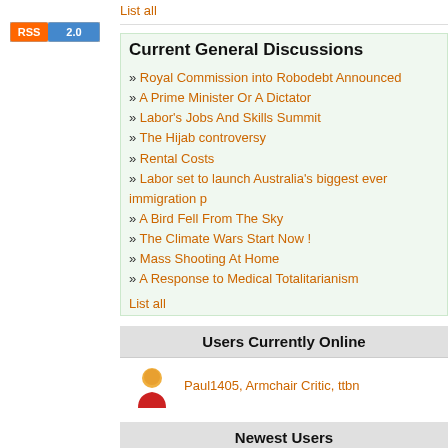[Figure (logo): RSS 2.0 badge with orange RSS label and blue 2.0 label]
List all
Current General Discussions
Royal Commission into Robodebt Announced
A Prime Minister Or A Dictator
Labor's Jobs And Skills Summit
The Hijab controversy
Rental Costs
Labor set to launch Australia's biggest ever immigration p
A Bird Fell From The Sky
The Climate Wars Start Now !
Mass Shooting At Home
A Response to Medical Totalitarianism
List all
Users Currently Online
[Figure (illustration): Yellow/orange user avatar icon with red body]
Paul1405, Armchair Critic, ttbn
Newest Users
[Figure (illustration): Yellow star icon]
Uniqueae, ryanmadison, maxs, The voice of reaso Immediate Edge, Maxxx17, Johnrose, Sarbaniac Indyvidual, joanem, legitm